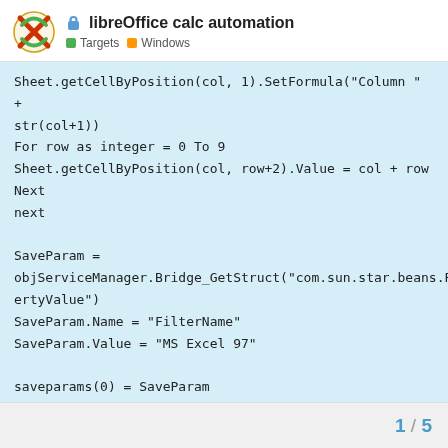libreOffice calc automation — Targets | Windows
Sheet.getCellByPosition(col, 1).SetFormula("Column " + str(col+1))
For row as integer = 0 To 9
Sheet.getCellByPosition(col, row+2).Value = col + row
Next
next

SaveParam = objServiceManager.Bridge_GetStruct("com.sun.star.beans.PropertyValue")
SaveParam.Name = "FilterName"
SaveParam.Value = "MS Excel 97"

saveparams(0) = SaveParam
objDocument.storeToURL "file:///c:/test/test.xls",
saveparams[/code]
1 / 5